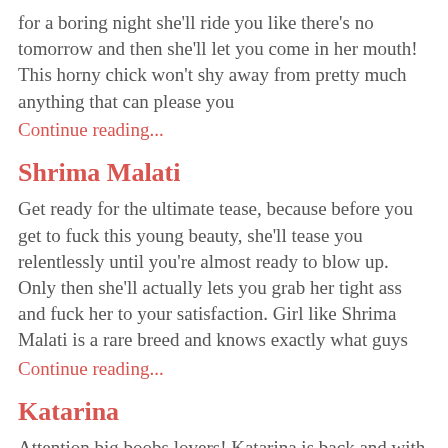for a boring night she'll ride you like there's no tomorrow and then she'll let you come in her mouth! This horny chick won't shy away from pretty much anything that can please you
Continue reading...
Shrima Malati
Get ready for the ultimate tease, because before you get to fuck this young beauty, she'll tease you relentlessly until you're almost ready to blow up. Only then she'll actually lets you grab her tight ass and fuck her to your satisfaction. Girl like Shrima Malati is a rare breed and knows exactly what guys
Continue reading...
Katarina
Attention big boobs lovers! Katarina is back and with her two huge, natural bouncing bags of joy! You know what we're talking about if you've seen any of